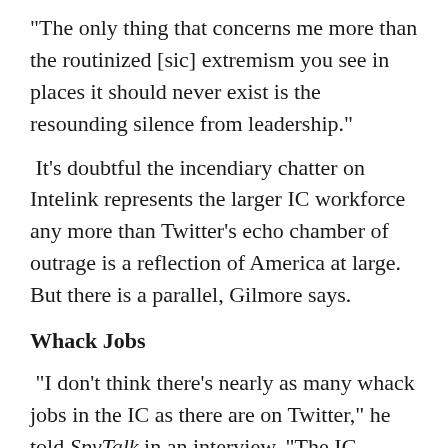“The only thing that concerns me more than the routinized [sic] extremism you see in places it should never exist is the resounding silence from leadership.”
It’s doubtful the incendiary chatter on Intelink represents the larger IC workforce any more than Twitter’s echo chamber of outrage is a reflection of America at large. But there is a parallel, Gilmore says.
Whack Jobs
“I don’t think there’s nearly as many whack jobs in the IC as there are on Twitter,” he told SpyTalk in an interview. “The IC definitely weeds out the whack jobs. Unfortunately, once those people are in and they’re given a microphone and a platform, a platform that is no longer moderated, then all of a sudden they’re allowed to get away with what they think they can get